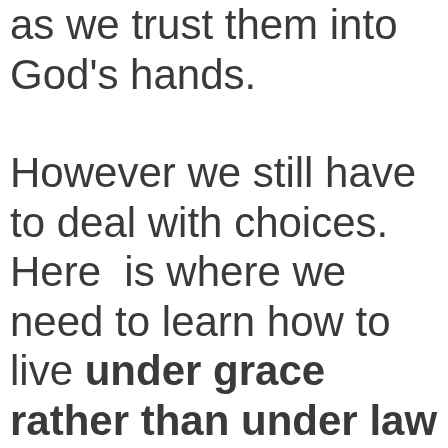as we trust them into God's hands.
However we still have to deal with choices.  Here  is where we need to learn how to live under grace rather than under law (Rm 6). Paul said that dealing with the issues of right and wrong point us to the question, what is it like to follow, or be under the authority of God.  Is He authoritarian, dogmatic and judgmentah qualities of